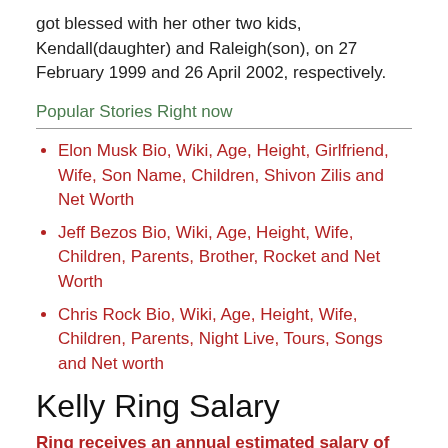got blessed with her other two kids, Kendall(daughter) and Raleigh(son), on 27 February 1999 and 26 April 2002, respectively.
Popular Stories Right now
Elon Musk Bio, Wiki, Age, Height, Girlfriend, Wife, Son Name, Children, Shivon Zilis and Net Worth
Jeff Bezos Bio, Wiki, Age, Height, Wife, Children, Parents, Brother, Rocket and Net Worth
Chris Rock Bio, Wiki, Age, Height, Wife, Children, Parents, Night Live, Tours, Songs and Net worth
Kelly Ring Salary
Ring receives an annual estimated salary of